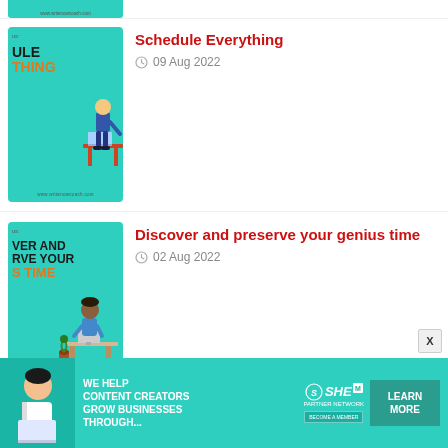[Figure (illustration): Teal background thumbnail with partial text and URL at bottom — top strip of a previous card]
[Figure (illustration): Teal background card thumbnail for 'Schedule Everything' with figure at desk and partial text visible]
Schedule Everything
09 Aug 2022
[Figure (illustration): Teal background card thumbnail for 'Discover and preserve your genius time' with figure at desk and partial text visible]
Discover and preserve your genius time
02 Aug 2022
[Figure (illustration): Dark gray/slate background card thumbnail for 'What Noah Webster Taught Me']
What Noah Webster Taught Me
[Figure (infographic): SHE Partner Network advertisement banner: 'We help content creators grow businesses through...' with Learn More button]